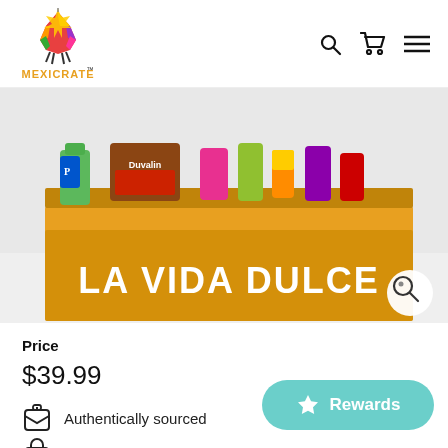[Figure (logo): MexiCrate pinata logo with colorful pinata figure above MEXICRATE text]
[Figure (photo): Yellow box labeled LA VIDA DULCE filled with Mexican candy including Duvalin and other snacks, product image on white background with magnify zoom button]
Price
$39.99
Authentically sourced
Secure payments